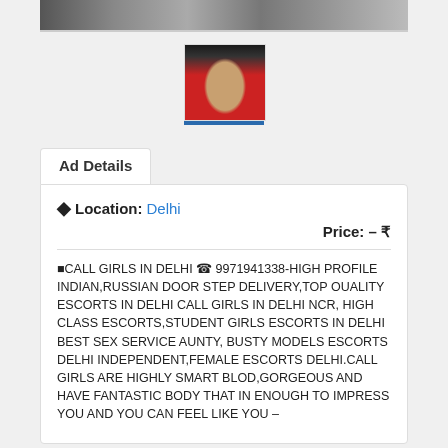[Figure (photo): Top banner image showing partial background scene]
[Figure (photo): Small profile thumbnail photo of a woman with dark hair wearing black, with red background]
Ad Details
Location: Delhi
Price: – ₹
⬛CALL GIRLS IN DELHI ☎ 9971941338-HIGH PROFILE INDIAN,RUSSIAN DOOR STEP DELIVERY,TOP OUALITY ESCORTS IN DELHI CALL GIRLS IN DELHI NCR, HIGH CLASS ESCORTS,STUDENT GIRLS ESCORTS IN DELHI BEST SEX SERVICE AUNTY, BUSTY MODELS ESCORTS DELHI INDEPENDENT,FEMALE ESCORTS DELHI.CALL GIRLS ARE HIGHLY SMART BLOD,GORGEOUS AND HAVE FANTASTIC BODY THAT IN ENOUGH TO IMPRESS YOU AND YOU CAN FEEL LIKE YOU –